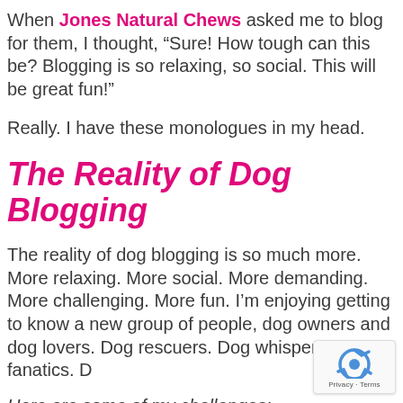When Jones Natural Chews asked me to blog for them, I thought, “Sure! How tough can this be? Blogging is so relaxing, so social. This will be great fun!”
Really. I have these monologues in my head.
The Reality of Dog Blogging
The reality of dog blogging is so much more. More relaxing. More social. More demanding. More challenging. More fun. I’m enjoying getting to know a new group of people, dog owners and dog lovers. Dog rescuers. Dog whisperers. Dog fanatics. D…
Here are some of my challenges: